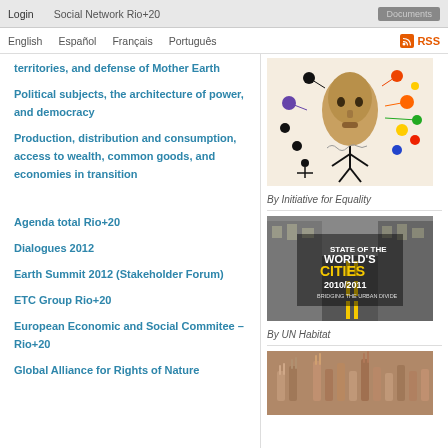Login   Social Network Rio+20   Documents
English   Español   Français   Português   RSS
territories, and defense of Mother Earth
Political subjects, the architecture of power, and democracy
Production, distribution and consumption, access to wealth, common goods, and economies in transition
[Figure (illustration): Stylized African mask with colorful circular nodes/bubbles and a small figure, By Initiative for Equality]
By Initiative for Equality
Agenda total Rio+20
Dialogues 2012
Earth Summit 2012 (Stakeholder Forum)
ETC Group Rio+20
European Economic and Social Commitee – Rio+20
Global Alliance for Rights of Nature
[Figure (photo): State of the World's Cities 2010/2011 book cover with city street photo, By UN Habitat]
By UN Habitat
[Figure (photo): Crowd of people raising hands]